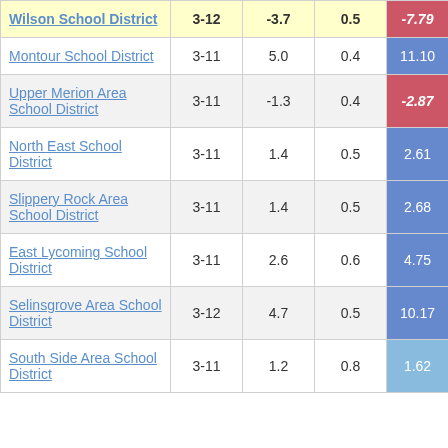| School District | Grades | Col3 | Col4 | Score |
| --- | --- | --- | --- | --- |
| Wilson School District | 3-12 | -3.7 | 0.5 | -7.79 |
| Montour School District | 3-11 | 5.0 | 0.4 | 11.10 |
| Upper Merion Area School District | 3-11 | -1.3 | 0.4 | -2.87 |
| North East School District | 3-11 | 1.4 | 0.5 | 2.61 |
| Slippery Rock Area School District | 3-11 | 1.4 | 0.5 | 2.68 |
| East Lycoming School District | 3-11 | 2.6 | 0.6 | 4.75 |
| Selinsgrove Area School District | 3-12 | 4.7 | 0.5 | 10.17 |
| South Side Area School District | 3-11 | 1.2 | 0.8 | 1.62 |